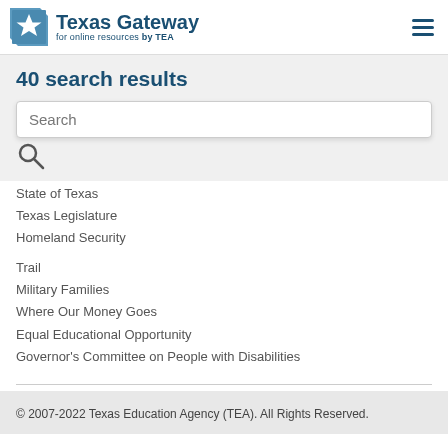Texas Gateway for online resources by TEA
40 search results
Search
State of Texas
Texas Legislature
Homeland Security
Trail
Military Families
Where Our Money Goes
Equal Educational Opportunity
Governor's Committee on People with Disabilities
© 2007-2022 Texas Education Agency (TEA). All Rights Reserved.